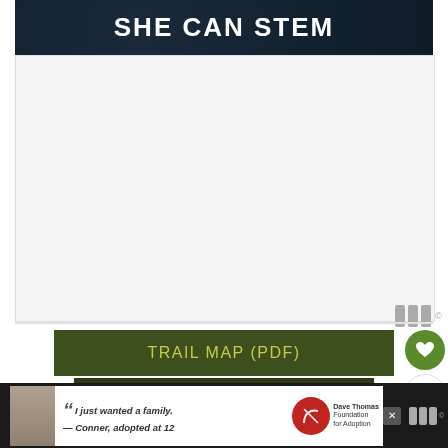[Figure (logo): SHE CAN STEM banner with white bold text on dark navy background]
[Figure (other): Light gray content card area with wordmark logo at bottom right]
[Figure (other): TRAIL MAP (PDF) and OFFICIAL WEBSITE dark olive green buttons]
[Figure (other): Heart/like button (green circle with heart icon), count of 1, and share button on right sidebar]
[Figure (other): Dave Thomas Foundation for Adoption advertisement banner at bottom with young boy photo and quote: I just wanted a family. — Conner, adopted at 12]